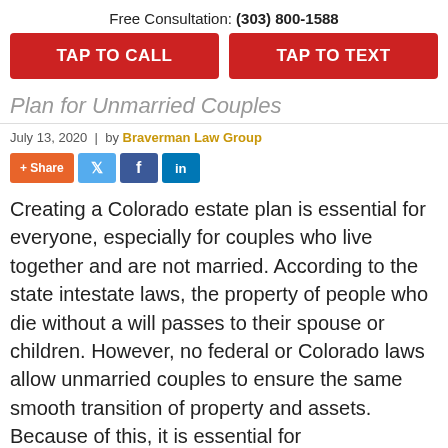Free Consultation: (303) 800-1588
TAP TO CALL
TAP TO TEXT
Plan for Unmarried Couples
July 13, 2020  |  by Braverman Law Group
[Figure (other): Social share buttons: +Share, Twitter, Facebook, LinkedIn]
Creating a Colorado estate plan is essential for everyone, especially for couples who live together and are not married. According to the state intestate laws, the property of people who die without a will passes to their spouse or children. However, no federal or Colorado laws allow unmarried couples to ensure the same smooth transition of property and assets. Because of this, it is essential for